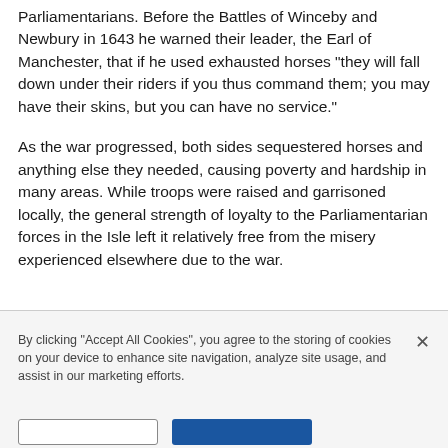Parliamentarians. Before the Battles of Winceby and Newbury in 1643 he warned their leader, the Earl of Manchester, that if he used exhausted horses "they will fall down under their riders if you thus command them; you may have their skins, but you can have no service."

As the war progressed, both sides sequestered horses and anything else they needed, causing poverty and hardship in many areas. While troops were raised and garrisoned locally, the general strength of loyalty to the Parliamentarian forces in the Isle left it relatively free from the misery experienced elsewhere due to the war.
By clicking "Accept All Cookies", you agree to the storing of cookies on your device to enhance site navigation, analyze site usage, and assist in our marketing efforts.